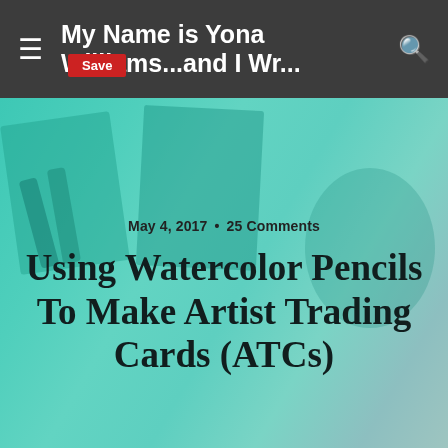My Name is Yona Williams...and I Wr...
Using Watercolor Pencils To Make Artist Trading Cards (ATCs)
May 4, 2017 • 25 Comments
[Figure (screenshot): Social share bar with Share, Tweet, Pin, Mail, SMS buttons]
[Figure (photo): Photo of colorful watercolor pencils arranged in a wooden case, showing greens, blues, purples, pinks, and reds from left to right]